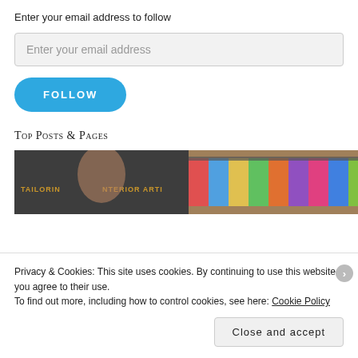Enter your email address to follow
Enter your email address
FOLLOW
Top Posts & Pages
[Figure (photo): Man in suit in front of sign reading TAILORING INTERIOR ARTI...]
[Figure (photo): Colorful clothing hanging on racks]
Privacy & Cookies: This site uses cookies. By continuing to use this website, you agree to their use.
To find out more, including how to control cookies, see here: Cookie Policy
Close and accept